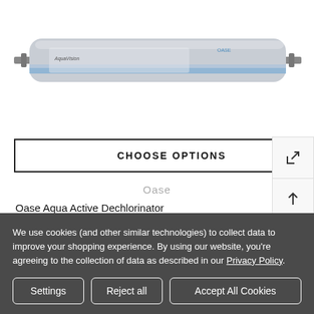[Figure (photo): Oase Aqua Active Dechlorinator filter cartridge — a cylindrical light-grey tube with blue stripe label, metal connectors on each end]
CHOOSE OPTIONS
Oase
Oase Aqua Active Dechlorinator
£145.99
We use cookies (and other similar technologies) to collect data to improve your shopping experience. By using our website, you're agreeing to the collection of data as described in our Privacy Policy.